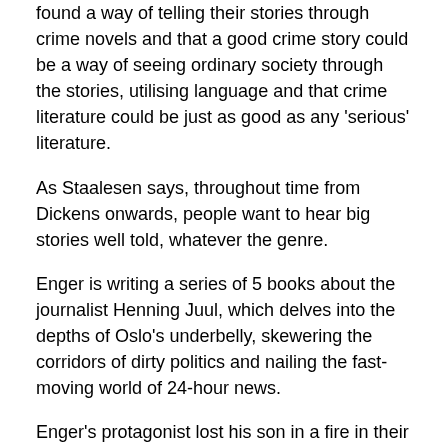found a way of telling their stories through crime novels and that a good crime story could be a way of seeing ordinary society through the stories, utilising language and that crime literature could be just as good as any 'serious' literature.
As Staalesen says, throughout time from Dickens onwards, people want to hear big stories well told, whatever the genre.
Enger is writing a series of 5 books about the journalist Henning Juul, which delves into the depths of Oslo's underbelly, skewering the corridors of dirty politics and nailing the fast-moving world of 24-hour news.
Enger's protagonist lost his son in a fire in their apartment. Each Henning Juul book can be read as a stand-alone in that each has its own mystery or mysteries, but throughout